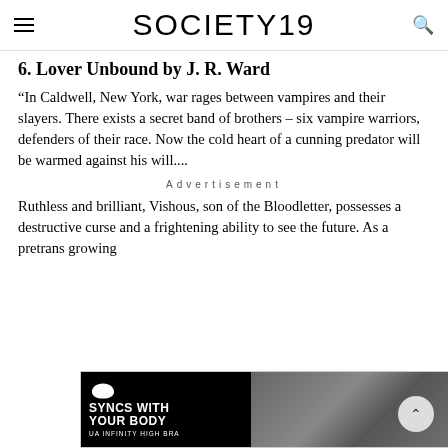SOCIETY19
6. Lover Unbound by J. R. Ward
“In Caldwell, New York, war rages between vampires and their slayers. There exists a secret band of brothers – six vampire warriors, defenders of their race. Now the cold heart of a cunning predator will be warmed against his will....
Advertisement
Ruthless and brilliant, Vishous, son of the Bloodletter, possesses a destructive curse and a frightening ability to see the future. As a pretrans growing
[Figure (screenshot): Advertisement banner for Under Armour UA Infinity High Bra with text 'SYNCS WITH YOUR BODY' and an image of a woman working out]